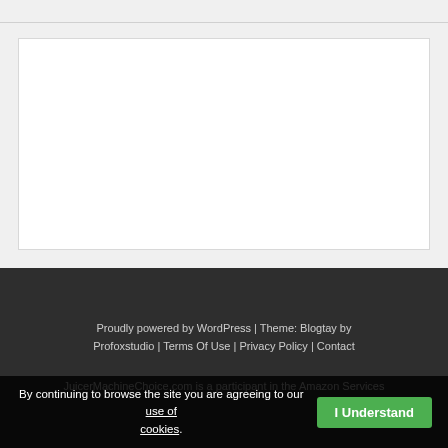[Figure (other): White content box placeholder on light gray background]
Proudly powered by WordPress | Theme: Blogtay by Profoxstudio | Terms Of Use | Privacy Policy | Contact
JuicerMachineChoice.com is a participant in the Amazon Services
By continuing to browse the site you are agreeing to our use of cookies. I Understand